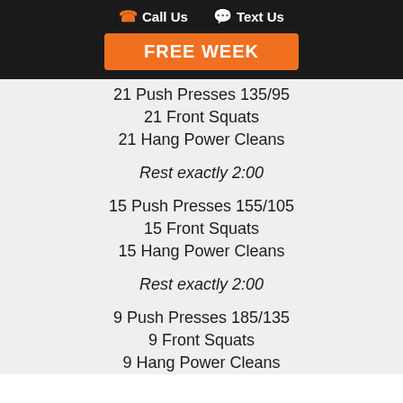Call Us  Text Us  FREE WEEK
21 Push Presses 135/95
21 Front Squats
21 Hang Power Cleans
Rest exactly 2:00
15 Push Presses 155/105
15 Front Squats
15 Hang Power Cleans
Rest exactly 2:00
9 Push Presses 185/135
9 Front Squats
9 Hang Power Cleans